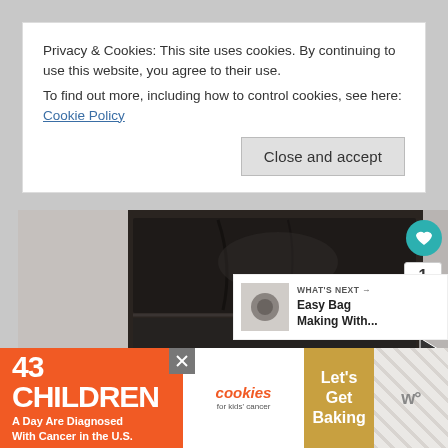Privacy & Cookies: This site uses cookies. By continuing to use this website, you agree to their use.
To find out more, including how to control cookies, see here: Cookie Policy
[Figure (photo): Dark brown/black leather bag or object photographed against a light background, showing creased leather surface with horizontal panel divisions]
WHAT'S NEXT → Easy Bag Making With...
43 CHILDREN A Day Are Diagnosed With Cancer in the U.S.
cookies for kids' cancer
Let's Get Baking